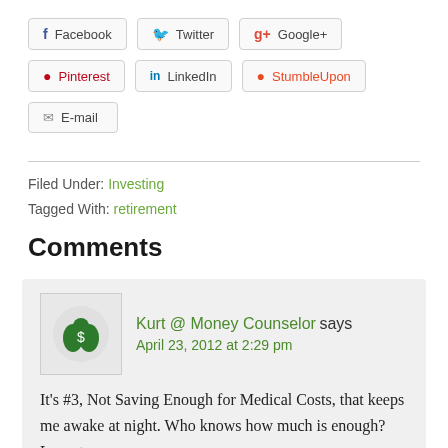[Figure (other): Social sharing buttons: Facebook, Twitter, Google+, Pinterest, LinkedIn, StumbleUpon, E-mail]
Filed Under: Investing
Tagged With: retirement
Comments
Kurt @ Money Counselor says
April 23, 2012 at 2:29 pm
It's #3, Not Saving Enough for Medical Costs, that keeps me awake at night. Who knows how much is enough? Long-term